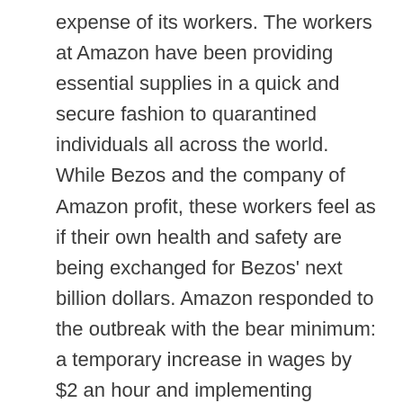expense of its workers. The workers at Amazon have been providing essential supplies in a quick and secure fashion to quarantined individuals all across the world. While Bezos and the company of Amazon profit, these workers feel as if their own health and safety are being exchanged for Bezos' next billion dollars. Amazon responded to the outbreak with the bear minimum: a temporary increase in wages by $2 an hour and implementing measures like temperature checks. In April, hundreds of Amazon workers protested the way Amazon had been handling the coronavirus outbreak by calling in sick to work. Groups like Amnesty International very quickly issued public responses in support of the workers and demanding Bezos respond to his workers requests. The manipulation and abuse of influence by Jeff Bezos has not been a new phenomenon.